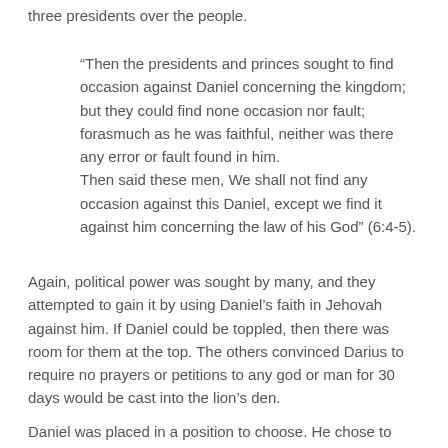three presidents over the people.
“Then the presidents and princes sought to find occasion against Daniel concerning the kingdom; but they could find none occasion nor fault; forasmuch as he was faithful, neither was there any error or fault found in him. Then said these men, We shall not find any occasion against this Daniel, except we find it against him concerning the law of his God” (6:4-5).
Again, political power was sought by many, and they attempted to gain it by using Daniel’s faith in Jehovah against him. If Daniel could be toppled, then there was room for them at the top. The others convinced Darius to require no prayers or petitions to any god or man for 30 days would be cast into the lion’s den.
Daniel was placed in a position to choose. He chose to